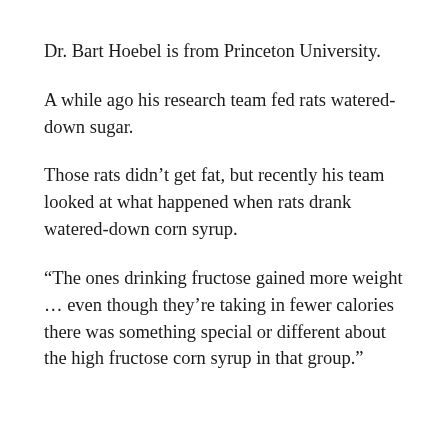Dr. Bart Hoebel is from Princeton University.
A while ago his research team fed rats watered-down sugar.
Those rats didn’t get fat, but recently his team looked at what happened when rats drank watered-down corn syrup.
“The ones drinking fructose gained more weight … even though they’re taking in fewer calories there was something special or different about the high fructose corn syrup in that group.”